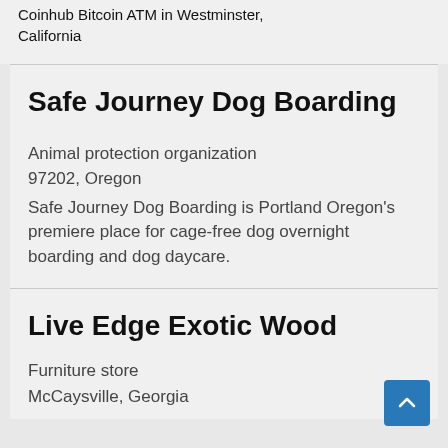Coinhub Bitcoin ATM in Westminster, California
Safe Journey Dog Boarding
Animal protection organization
97202, Oregon
Safe Journey Dog Boarding is Portland Oregon's premiere place for cage-free dog overnight boarding and dog daycare.
Live Edge Exotic Wood
Furniture store
McCaysville, Georgia